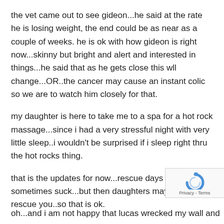the vet came out to see gideon...he said at the rate he is losing weight, the end could be as near as a couple of weeks. he is ok with how gideon is right now...skinny but bright and alert and interested in things...he said that as he gets close this wll change...OR..the cancer may cause an instant colic so we are to watch him closely for that.
my daughter is here to take me to a spa for a hot rock massage...since i had a very stressful night with very little sleep..i wouldn't be surprised if i sleep right thru the hot rocks thing.
that is the updates for now...rescue days as usual, sometimes suck...but then daughters may come to rescue you..so that is ok.
oh...and i am not happy that lucas wrecked my wall and